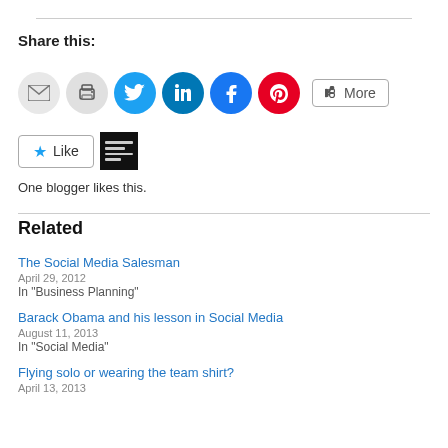Share this:
[Figure (infographic): Row of social sharing icon buttons: email (grey), print (grey), Twitter (blue bird), LinkedIn (teal/blue), Facebook (blue), Pinterest (red), and a More button with share icon]
[Figure (infographic): Like button with blue star and 'Like' text, next to a small dark avatar image. Text below reads 'One blogger likes this.']
One blogger likes this.
Related
The Social Media Salesman
April 29, 2012
In "Business Planning"
Barack Obama and his lesson in Social Media
August 11, 2013
In "Social Media"
Flying solo or wearing the team shirt?
April 13, 2013